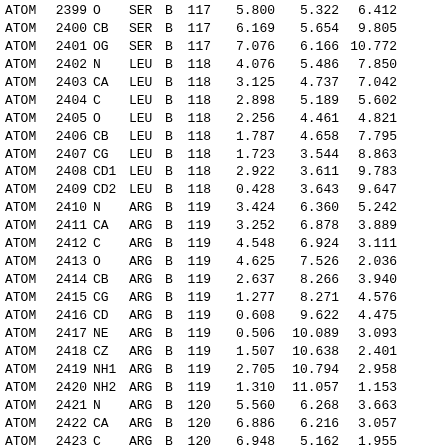| Type | Num | Atom | Res | Ch | ResNum | X | Y | Z |
| --- | --- | --- | --- | --- | --- | --- | --- | --- |
| ATOM | 2399 | O | SER | B | 117 | 5.800 | 5.322 | 6.412 |
| ATOM | 2400 | CB | SER | B | 117 | 6.169 | 5.654 | 9.805 |
| ATOM | 2401 | OG | SER | B | 117 | 7.076 | 6.166 | 10.772 |
| ATOM | 2402 | N | LEU | B | 118 | 4.076 | 5.486 | 7.850 |
| ATOM | 2403 | CA | LEU | B | 118 | 3.125 | 4.737 | 7.042 |
| ATOM | 2404 | C | LEU | B | 118 | 2.898 | 5.189 | 5.602 |
| ATOM | 2405 | O | LEU | B | 118 | 2.256 | 4.461 | 4.821 |
| ATOM | 2406 | CB | LEU | B | 118 | 1.787 | 4.658 | 7.795 |
| ATOM | 2407 | CG | LEU | B | 118 | 1.723 | 3.544 | 8.863 |
| ATOM | 2408 | CD1 | LEU | B | 118 | 2.922 | 3.611 | 9.783 |
| ATOM | 2409 | CD2 | LEU | B | 118 | 0.428 | 3.643 | 9.647 |
| ATOM | 2410 | N | ARG | B | 119 | 3.424 | 6.360 | 5.242 |
| ATOM | 2411 | CA | ARG | B | 119 | 3.252 | 6.878 | 3.889 |
| ATOM | 2412 | C | ARG | B | 119 | 4.548 | 6.924 | 3.111 |
| ATOM | 2413 | O | ARG | B | 119 | 4.625 | 7.526 | 2.036 |
| ATOM | 2414 | CB | ARG | B | 119 | 2.637 | 8.266 | 3.940 |
| ATOM | 2415 | CG | ARG | B | 119 | 1.277 | 8.271 | 4.576 |
| ATOM | 2416 | CD | ARG | B | 119 | 0.608 | 9.622 | 4.475 |
| ATOM | 2417 | NE | ARG | B | 119 | 0.506 | 10.089 | 3.093 |
| ATOM | 2418 | CZ | ARG | B | 119 | 1.507 | 10.638 | 2.401 |
| ATOM | 2419 | NH1 | ARG | B | 119 | 2.705 | 10.794 | 2.958 |
| ATOM | 2420 | NH2 | ARG | B | 119 | 1.310 | 11.057 | 1.153 |
| ATOM | 2421 | N | ARG | B | 120 | 5.560 | 6.268 | 3.663 |
| ATOM | 2422 | CA | ARG | B | 120 | 6.886 | 6.216 | 3.057 |
| ATOM | 2423 | C | ARG | B | 120 | 6.948 | 5.162 | 1.955 |
| ATOM | 2424 | O | ARG | B | 120 | 6.969 | 3.963 | 2.236 |
| ATOM | 2425 | CB | ARG | B | 120 | 7.928 | 5.894 | 4.132 |
| ATOM | 2426 | CG | ARG | B | 120 | 9.350 | 5.986 | 3.692 |
| ATOM | 2427 | CD | ARG | B | 120 | 9.910 | 7.357 | 3.956 |
| ATOM | 2428 | NE | ARG | B | 120 | 11.146 | 7.528 | 3.211 |